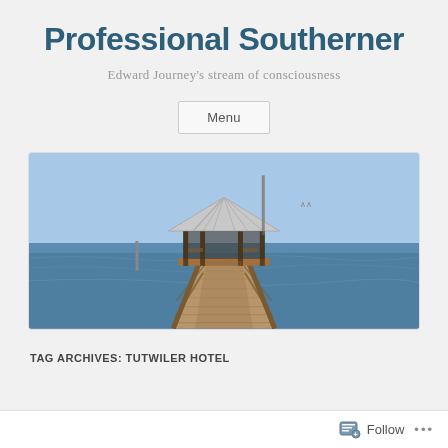Professional Southerner
Edward Journey's stream of consciousness
Menu
[Figure (photo): A wooden pier with a covered gazebo extending over open water, with a clear blue sky. The perspective is from the shore end of the pier looking toward the gazebo structure.]
TAG ARCHIVES: TUTWILER HOTEL
Follow  •••